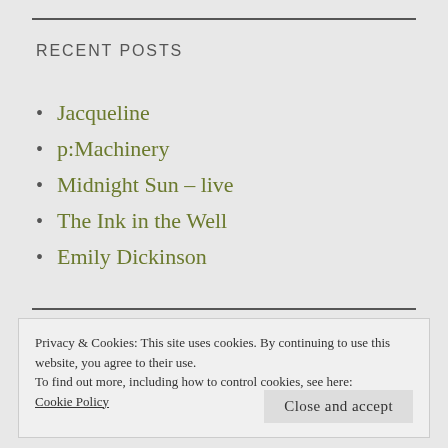RECENT POSTS
Jacqueline
p:Machinery
Midnight Sun – live
The Ink in the Well
Emily Dickinson
Privacy & Cookies: This site uses cookies. By continuing to use this website, you agree to their use.
To find out more, including how to control cookies, see here: Cookie Policy
Close and accept